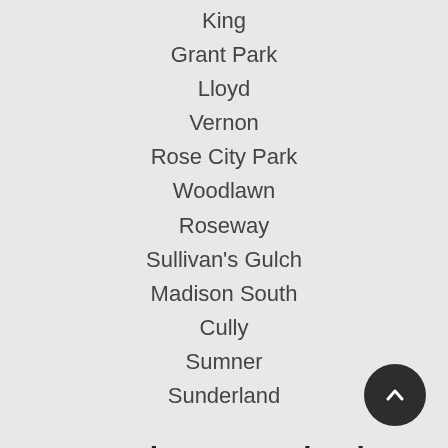King
Grant Park
Lloyd
Vernon
Rose City Park
Woodlawn
Roseway
Sullivan's Gulch
Madison South
Cully
Sumner
Sunderland
Southwest Portland
South Portland
Homestead